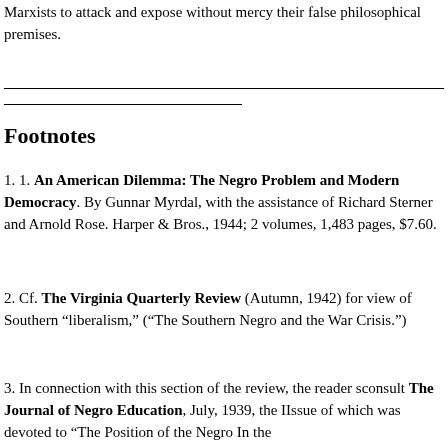Marxists to attack and expose without mercy their false philosophical premises.
Footnotes
1. 1. An American Dilemma: The Negro Problem and Modern Democracy. By Gunnar Myrdal, with the assistance of Richard Sterner and Arnold Rose. Harper & Bros., 1944; 2 volumes, 1,483 pages, $7.60.
2. Cf. The Virginia Quarterly Review (Autumn, 1942) for view of Southern “liberalism,” (“The Southern Negro and the War Crisis.”)
3. In connection with this section of the review, the reader should consult The Journal of Negro Education, July, 1939, the Issue of which was devoted to “The Position of the Negro In the